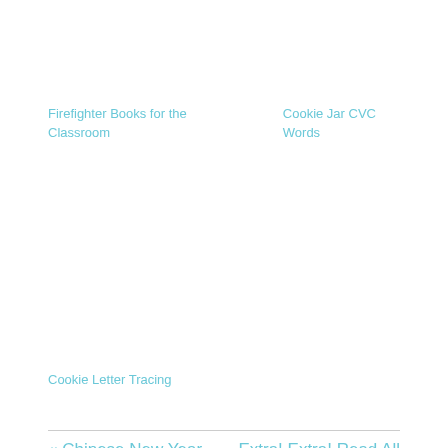Firefighter Books for the Classroom
Cookie Jar CVC Words
Cookie Letter Tracing
« Chinese New Year
Extra! Extra! Read All